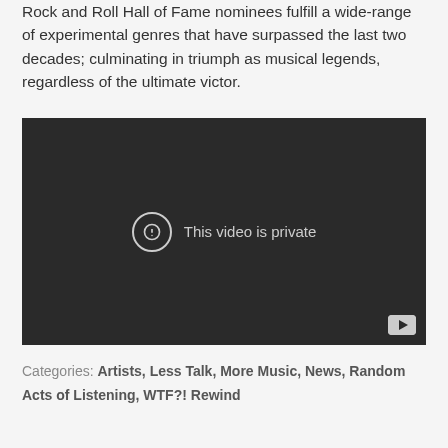Rock and Roll Hall of Fame nominees fulfill a wide-range of experimental genres that have surpassed the last two decades; culminating in triumph as musical legends, regardless of the ultimate victor.
[Figure (screenshot): Embedded video player showing 'This video is private' message with a warning icon and YouTube logo in the bottom right corner. The video player background is dark/black.]
Categories: Artists, Less Talk, More Music, News, Random Acts of Listening, WTF?! Rewind